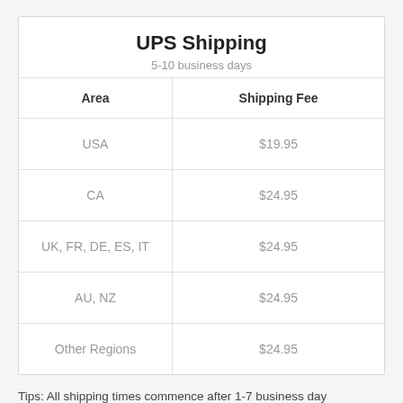| Area | Shipping Fee |
| --- | --- |
| USA | $19.95 |
| CA | $24.95 |
| UK, FR, DE, ES, IT | $24.95 |
| AU, NZ | $24.95 |
| Other Regions | $24.95 |
Tips: All shipping times commence after 1-7 business day processing time. The processing of progressive or bifocal lenses, transition and tinted lenses will take longer time, up to 5-7 business days from the